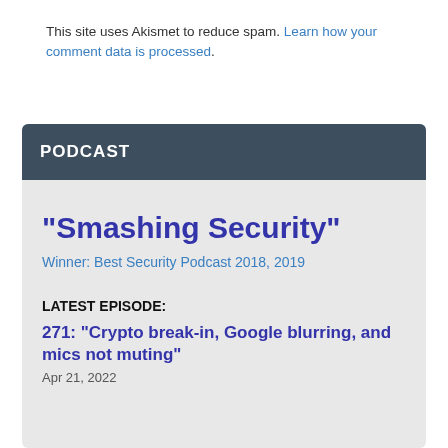This site uses Akismet to reduce spam. Learn how your comment data is processed.
PODCAST
"Smashing Security"
Winner: Best Security Podcast 2018, 2019
LATEST EPISODE:
271: "Crypto break-in, Google blurring, and mics not muting"
Apr 21, 2022